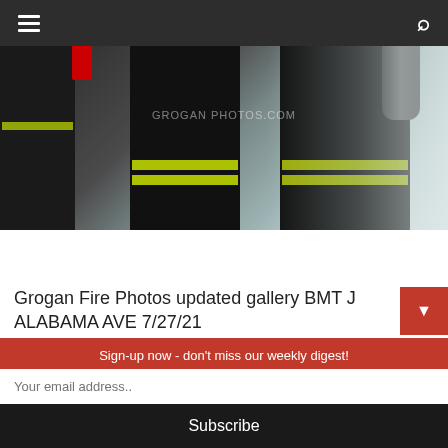Navigation bar with hamburger menu and search icon
[Figure (photo): Firefighters in black and yellow gear with breathing apparatus entering a smoke-filled building. Watermark reads GROGAN PHOTOS.COM]
Grogan Fire Photos updated gallery BMT J ALABAMA AVE 7/27/21
Share this:
[Figure (infographic): Social media share buttons: Facebook (blue circle), Twitter (light blue circle), WhatsApp (green circle)]
Sign-up now - don't miss our weekly digest!
Your email address..
Subscribe